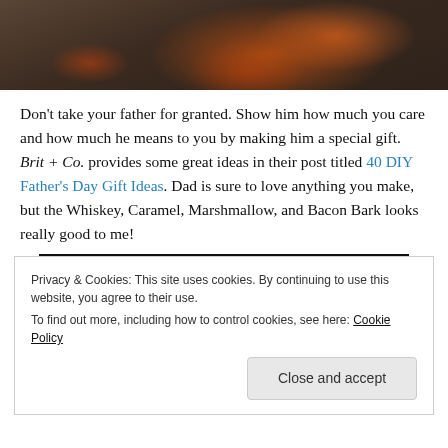[Figure (photo): Close-up photo of food item with caramel/chocolate glaze on a dark surface, partially visible at top of page]
Don't take your father for granted. Show him how much you care and how much he means to you by making him a special gift. Brit + Co. provides some great ideas in their post titled 40 DIY Father's Day Gift Ideas. Dad is sure to love anything you make, but the Whiskey, Caramel, Marshmallow, and Bacon Bark looks really good to me!
Privacy & Cookies: This site uses cookies. By continuing to use this website, you agree to their use.
To find out more, including how to control cookies, see here: Cookie Policy